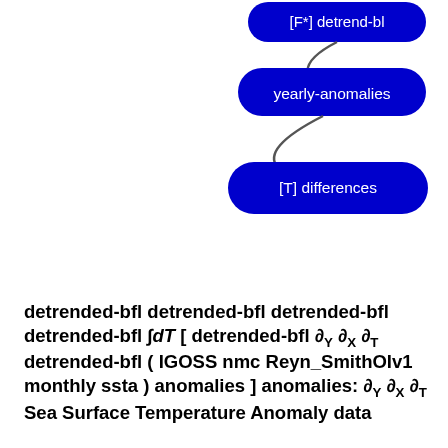[Figure (screenshot): Two blue rounded-rectangle UI buttons labeled 'yearly-anomalies' and '[T] differences', connected by curved lines on the right side of the page]
detrended-bfl detrended-bfl detrended-bfl detrended-bfl ∫dT [ detrended-bfl ∂Y ∂X ∂T detrended-bfl ( IGOSS nmc Reyn_SmithOIv1 monthly ssta ) anomalies ] anomalies: ∂Y ∂X ∂T Sea Surface Temperature Anomaly data
monthly ssta adif adif adif partial_T partial_X partial_Y adif adif int_dT int_dT adif adif adif adif adif ∂Y ∂X ∂T Sea Surface Temperature Anomaly from IGOSS nmc Reyn_SmithOIv1: Sea surface temperature fields blended from ship, buoy and bias-corrected satellite data (Reynolds and Smith 1994).